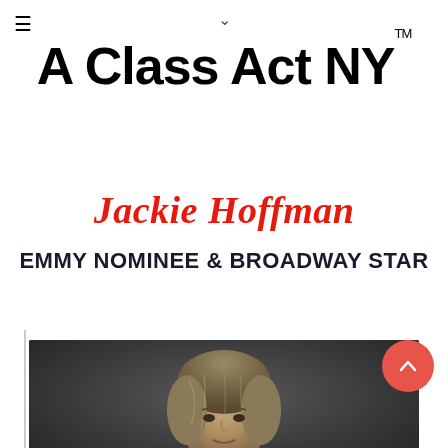≡
∨
A Class Act NY™
Jackie Hoffman
EMMY NOMINEE & BROADWAY STAR
[Figure (photo): Headshot photograph of Jackie Hoffman against a dark background]